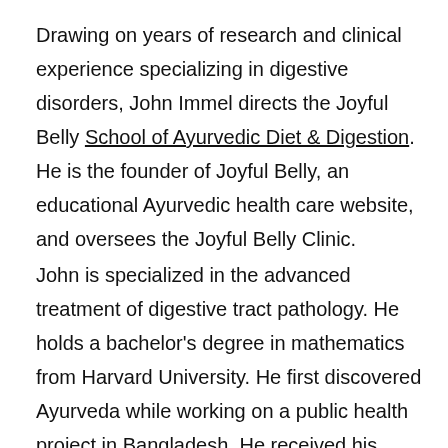Drawing on years of research and clinical experience specializing in digestive disorders, John Immel directs the Joyful Belly School of Ayurvedic Diet & Digestion. He is the founder of Joyful Belly, an educational Ayurvedic health care website, and oversees the Joyful Belly Clinic.
John is specialized in the advanced treatment of digestive tract pathology. He holds a bachelor's degree in mathematics from Harvard University. He first discovered Ayurveda while working on a public health project in Bangladesh. He received his Ayurveda training and certification in 2008.